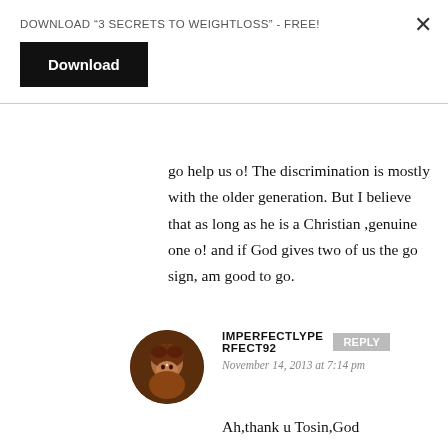DOWNLOAD “3 SECRETS TO WEIGHTLOSS” - FREE!
Download
go help us o! The discrimination is mostly with the older generation. But I believe that as long as he is a Christian ,genuine one o! and if God gives two of us the go sign, am good to go.
[Figure (photo): Circular avatar photo of a woman with short dark red/burgundy hair, smiling, resting chin on hand]
IMPERFECTLYPERFECT92
Reply
November 14, 2013 at 7:14 pm
Ah,thank u Tosin,God